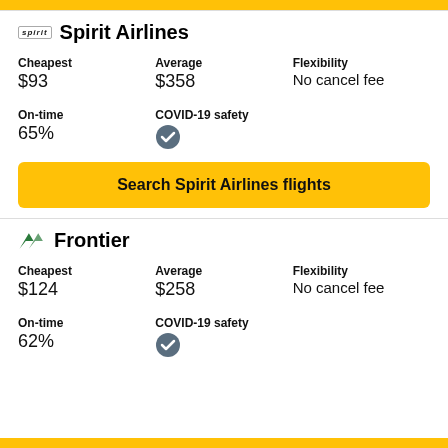Spirit Airlines
Cheapest: $93 | Average: $358 | Flexibility: No cancel fee
On-time: 65% | COVID-19 safety: checked
Search Spirit Airlines flights
Frontier
Cheapest: $124 | Average: $258 | Flexibility: No cancel fee
On-time: 62% | COVID-19 safety: checked